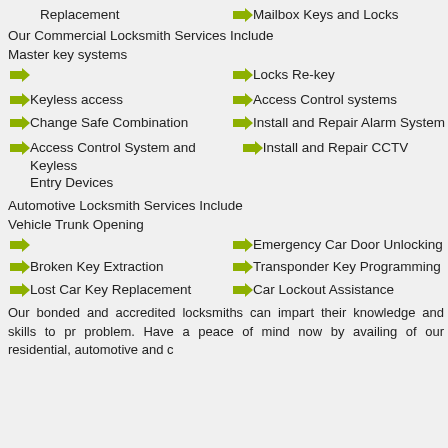Replacement
Mailbox Keys and Locks
Our Commercial Locksmith Services Include
Master key systems
(arrow only)
Locks Re-key
Keyless access
Access Control systems
Change Safe Combination
Install and Repair Alarm System
Access Control System and Keyless Entry Devices
Install and Repair CCTV
Automotive Locksmith Services Include
Vehicle Trunk Opening
(arrow only)
Emergency Car Door Unlocking
Broken Key Extraction
Transponder Key Programming
Lost Car Key Replacement
Car Lockout Assistance
Our bonded and accredited locksmiths can impart their knowledge and skills to pr problem. Have a peace of mind now by availing of our residential, automotive and c